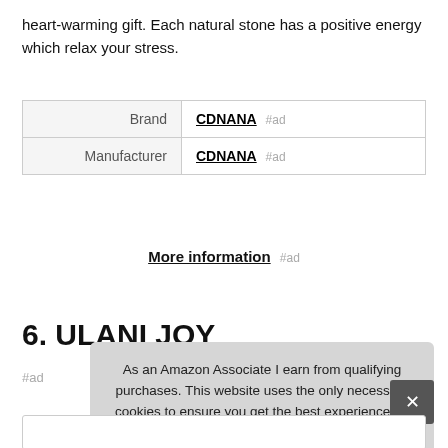heart-warming gift. Each natural stone has a positive energy which relax your stress.
| Brand | CDNANA #ad |
| Manufacturer | CDNANA #ad |
More information #ad
6. ULANI JOY
#ad
As an Amazon Associate I earn from qualifying purchases. This website uses the only necessary cookies to ensure you get the best experience on our website. More information